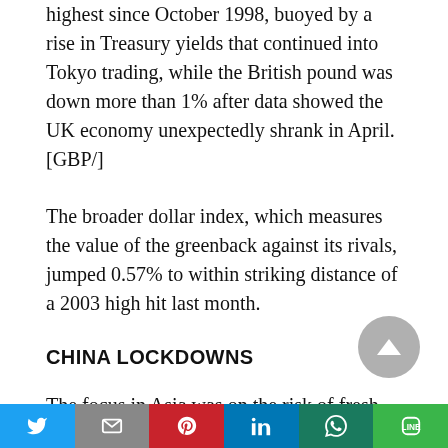highest since October 1998, buoyed by a rise in Treasury yields that continued into Tokyo trading, while the British pound was down more than 1% after data showed the UK economy unexpectedly shrank in April. [GBP/]
The broader dollar index, which measures the value of the greenback against its rivals, jumped 0.57% to within striking distance of a 2003 high hit last month.
CHINA LOCKDOWNS
The focus in Asia was on the risk of fresh
Twitter | Gmail | Pinterest | LinkedIn | WhatsApp | LINE